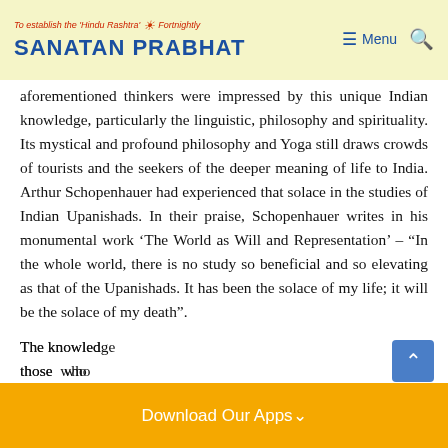To establish the 'Hindu Rashtra' Fortnightly | SANATAN PRABHAT
aforementioned thinkers were impressed by this unique Indian knowledge, particularly the linguistic, philosophy and spirituality. Its mystical and profound philosophy and Yoga still draws crowds of tourists and the seekers of the deeper meaning of life to India. Arthur Schopenhauer had experienced that solace in the studies of Indian Upanishads. In their praise, Schopenhauer writes in his monumental work ‘The World as Will and Representation’ – “In the whole world, there is no study so beneficial and so elevating as that of the Upanishads. It has been the solace of my life; it will be the solace of my death”.
The knowledge those who